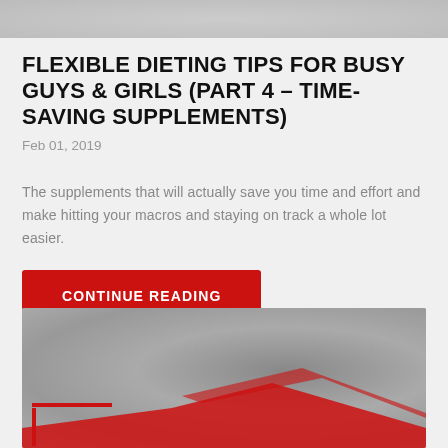[Figure (photo): Top portion of a grayscale image, partially cropped at the top of the page]
FLEXIBLE DIETING TIPS FOR BUSY GUYS & GIRLS (PART 4 – TIME-SAVING SUPPLEMENTS)
Feb 01, 2019
The supplements that will actually save you time and effort and make hitting your macros and staying on track a whole lot easier.
CONTINUE READING
[Figure (photo): Grayscale image at bottom of page with red arrow/chevron overlay graphics visible at the lower portion]